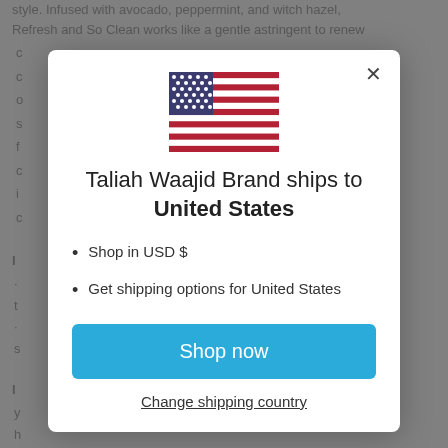style. Infused with avocado, peppermint, and witch hazel, Refresh and So Clean works like a gentle astringent to renew
[Figure (illustration): US flag emoji / icon]
Taliah Waajid Brand ships to United States
Shop in USD $
Get shipping options for United States
Shop now
Change shipping country
Carbomer, Sodium Hydroxide, Vegetable Oil, Corn, Mentha Piperita (Peppermint) Oil, Butylene Glycol, Ppg-26-buteth-26,